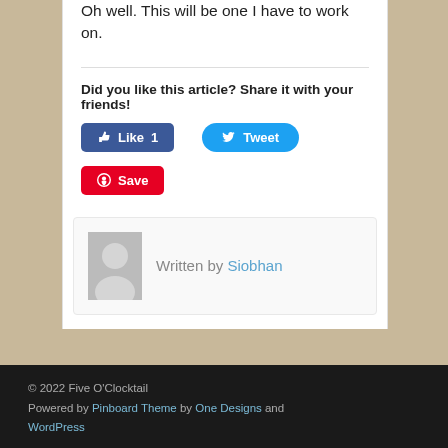Oh well. This will be one I have to work on.
Did you like this article? Share it with your friends!
[Figure (screenshot): Facebook Like button (blue, count=1), Twitter Tweet button (blue rounded), Pinterest Save button (red)]
Written by Siobhan
© 2022 Five O'Clocktail
Powered by Pinboard Theme by One Designs and WordPress